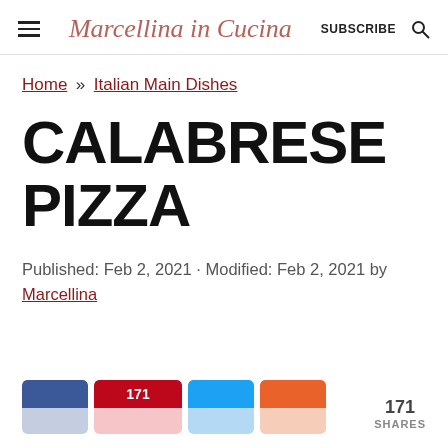Marcellina in Cucina  SUBSCRIBE
Home » Italian Main Dishes
CALABRESE PIZZA
Published: Feb 2, 2021 · Modified: Feb 2, 2021 by Marcellina
171  171 SHARES